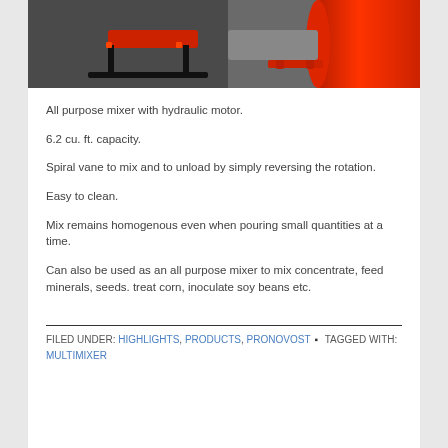[Figure (photo): Photo of a red hydraulic mixer/multimixer machine on a ground surface, showing the red drum and black frame components.]
All purpose mixer with hydraulic motor.
6.2 cu. ft. capacity.
Spiral vane to mix and to unload by simply reversing the rotation.
Easy to clean.
Mix remains homogenous even when pouring small quantities at a time.
Can also be used as an all purpose mixer to mix concentrate, feed minerals, seeds. treat corn, inoculate soy beans etc.
FILED UNDER: HIGHLIGHTS, PRODUCTS, PRONOVOST • TAGGED WITH: MULTIMIXER